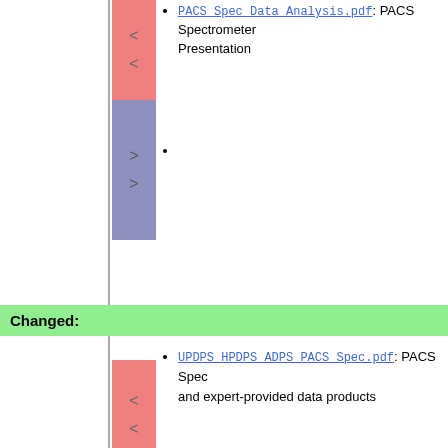PACS_Spec_Data_Analysis.pdf: PACS Spectrometer Presentation
Changed:
UPDPS_HPDPS_ADPS_PACS_Spec.pdf: PACS Spec and expert-provided data products
: PACS Spectrometer user-provided and expert-provid
|  |  |
| --- | --- |
| META FILEATTACHMENT | attachment="Herschel_LegacyProdu attr="" comment="" date="147738739 name="Herschel_LegacyProducts_A path="Herschel_LegacyProducts_Arc size="5467535" user="DavidTeyssier" |
| META FILEATTACHMENT | attachment="Herschel_DataMiningTo comment="" date="1477388994" name="Herschel_DataMiningTools16 |